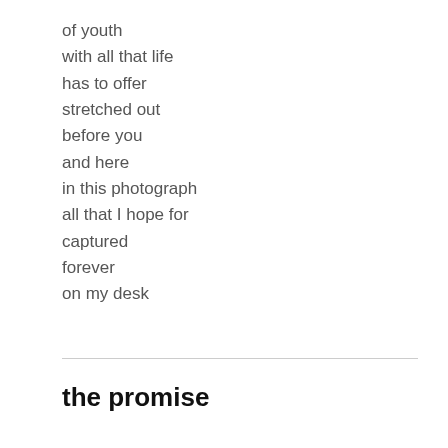of youth
with all that life
has to offer
stretched out
before you
and here
in this photograph
all that I hope for
captured
forever
on my desk
the promise